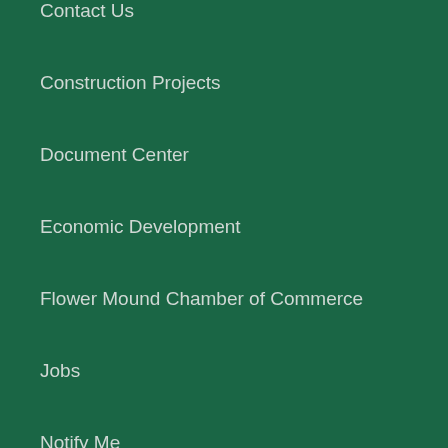Contact Us
Construction Projects
Document Center
Economic Development
Flower Mound Chamber of Commerce
Jobs
Notify Me
Online Payments
Seniors In Motion
Service Requests